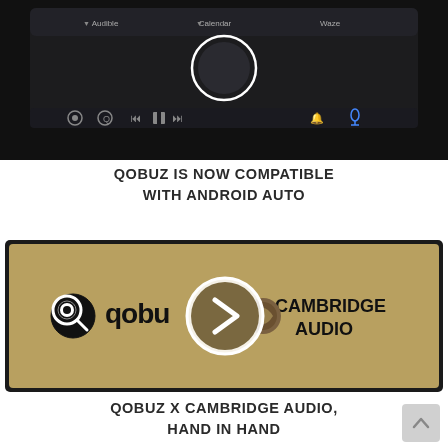[Figure (screenshot): Car dashboard infotainment screen showing Android Auto interface with Audible, Calendar, and Waze apps visible, and media controls at the bottom. Dark interior background.]
QOBUZ IS NOW COMPATIBLE WITH ANDROID AUTO
[Figure (screenshot): Video thumbnail with golden/tan background showing Qobuz logo on the left, Cambridge Audio logo on the right, and a circular play button in the center.]
QOBUZ X CAMBRIDGE AUDIO, HAND IN HAND